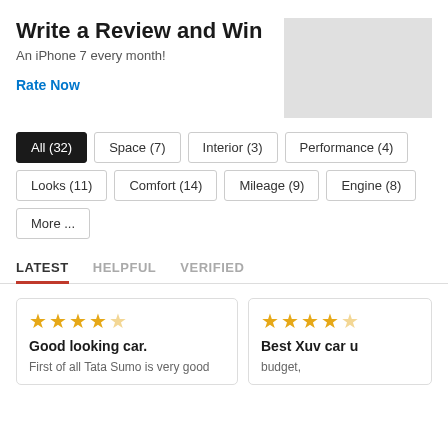Write a Review and Win
An iPhone 7 every month!
Rate Now
[Figure (other): Gray placeholder image, likely a car or banner photo]
All (32)
Space (7)
Interior (3)
Performance (4)
Looks (11)
Comfort (14)
Mileage (9)
Engine (8)
More ...
LATEST
HELPFUL
VERIFIED
Good looking car.
First of all Tata Sumo is very good
Best Xuv car u...
budget,